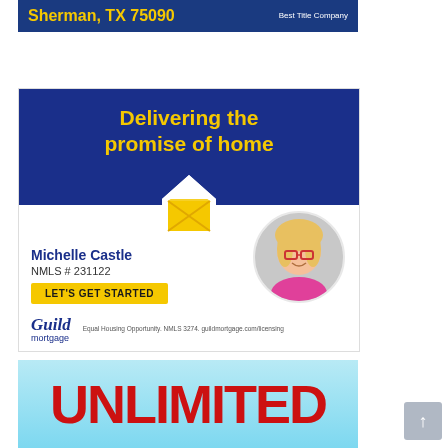[Figure (infographic): Partial blue banner with yellow text 'Sherman, TX 75090' and 'Best Title Company' in white text on right]
[Figure (infographic): Guild Mortgage advertisement with dark blue background, yellow tagline 'Delivering the promise of home', house/envelope icon, agent photo, agent name Michelle Castle, NMLS #231122, yellow CTA button 'LET'S GET STARTED', Guild mortgage logo, and Equal Housing disclaimer]
[Figure (infographic): Partial banner with light blue background and large red bold text 'UNLIMITED' at the bottom of the page]
[Figure (other): Gray scroll-to-top button with white up arrow in bottom right corner]